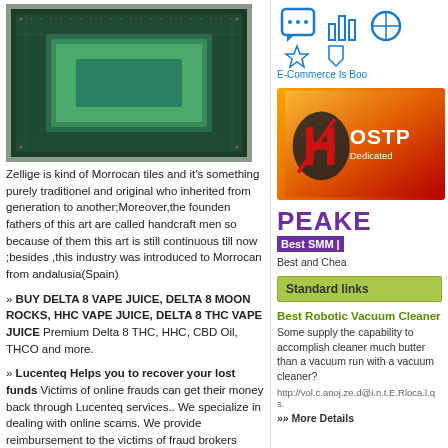[Figure (photo): Aerial view of Zellige Moroccan tile mosaic with green and black geometric pattern]
Zellige is kind of Morrocan tiles and it's something purely traditionel and original who inherited from generation to another;Moreover,the founden fathers of this art are called handcraft men so because of them this art is still continuous till now ;besides ,this industry was introduced to Morrocan from andalusia(Spain)
» BUY DELTA 8 VAPE JUICE, DELTA 8 MOON ROCKS, HHC VAPE JUICE, DELTA 8 THC VAPE JUICE Premium Delta 8 THC, HHC, CBD Oil, THCO and more.
» Lucenteq Helps you to recover your lost funds Victims of online frauds can get their money back through Lucenteq services.. We specialize in dealing with online scams. We provide reimbursement to the victims of fraud brokers through many techniques
» London Escorts London Escort Agency Girls Near By Outcall Female Escorts Cheap Local Escorts
» smm panel SMMWEBS is an SMM
[Figure (illustration): E-Commerce icons with chat bubble, bar chart, and other icons. Label: E-Commerce Is Boo]
[Figure (logo): OSTPU hosting company logo on orange-red gradient background with Dedicated text]
PEAKE
Best SMM
Best and Chea
Standard links
Best Robotic Vacuum Cleaner
Some supply the capability to accomplish cleaner much better than a vacuum run with a vacuum cleaner?
http://vol.c.anoj.ze.d@i.n.t.E.Rloca.l.qs.
»» More Details